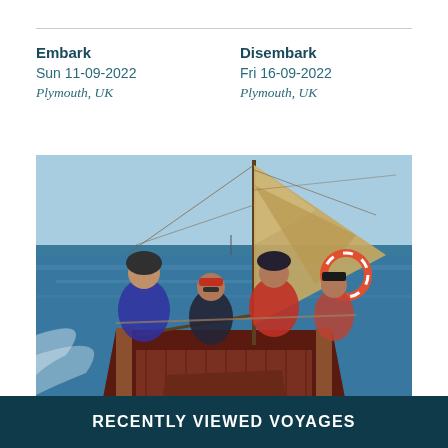Embark
Sun 11-09-2022
Plymouth, UK
Disembark
Fri 16-09-2022
Plymouth, UK
[Figure (photo): People on the deck of a traditional sailing vessel at sea, with tan sails raised and blue choppy water visible. Four crew members visible wearing cold weather gear including red jackets and hats.]
Fully Booked
MORE DETAILS
RECENTLY VIEWED VOYAGES